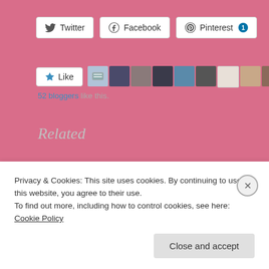[Figure (screenshot): Social share buttons: Twitter, Facebook, Pinterest (with badge showing 1)]
[Figure (screenshot): Like button with star icon and a strip of 9+ avatar thumbnails of bloggers who liked]
52 bloggers like this.
Related
A Class Above: D&D Classes in Books- Rogues and Rangers
We Ride the Storm by Devin Madson
April 9, 2020
Privacy & Cookies: This site uses cookies. By continuing to use this website, you agree to their use.
To find out more, including how to control cookies, see here: Cookie Policy